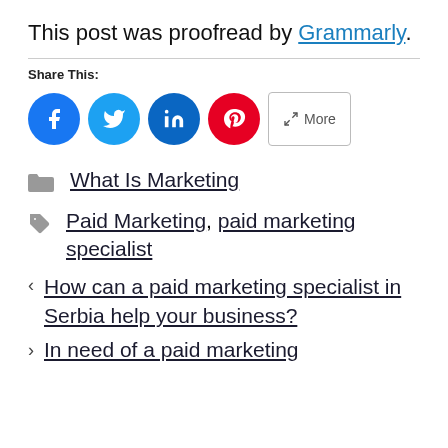This post was proofread by Grammarly.
Share This:
[Figure (other): Social share buttons: Facebook, Twitter, LinkedIn, Pinterest, More]
What Is Marketing
Paid Marketing, paid marketing specialist
How can a paid marketing specialist in Serbia help your business?
In need of a paid marketing